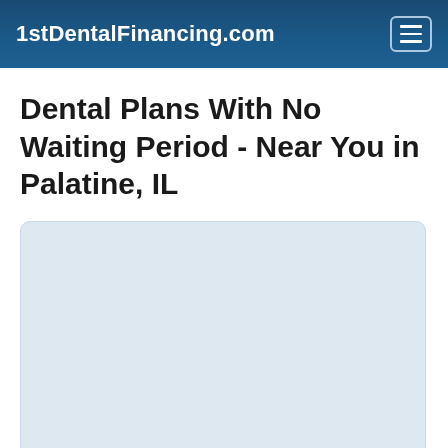1stDentalFinancing.com
Dental Plans With No Waiting Period - Near You in Palatine, IL
[Figure (other): Light blue-grey rounded rectangle card/placeholder box]